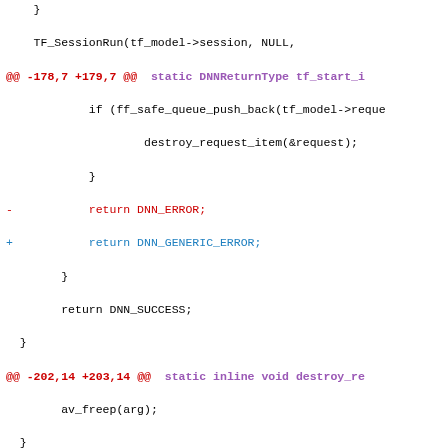Code diff showing changes in C source file with DNNReturnType and related function modifications
[Figure (screenshot): Git diff output showing changes to TensorFlow model C code, including return type changes from DNN_ERROR to DNN_GENERIC_ERROR and AVERROR(ENOMEM), and function signature change from DNNReturnType to int for extract_lltask_from_task]